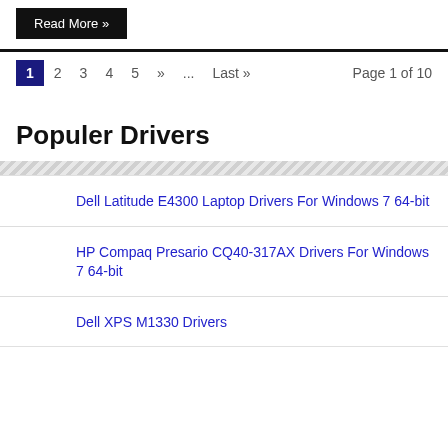Read More »
1  2  3  4  5  »  ...  Last »  Page 1 of 10
Populer Drivers
Dell Latitude E4300 Laptop Drivers For Windows 7 64-bit
HP Compaq Presario CQ40-317AX Drivers For Windows 7 64-bit
Dell XPS M1330 Drivers